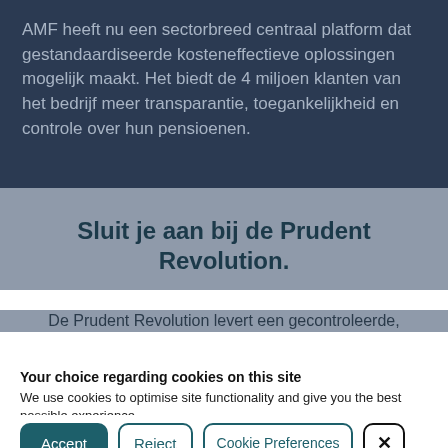AMF heeft nu een sectorbreed centraal platform dat gestandaardiseerde kosteneffectieve oplossingen mogelijk maakt. Het biedt de 4 miljoen klanten van het bedrijf meer transparantie, toegankelijkheid en controle over hun pensioenen.
Sluit je aan bij de Prudent Revolution.
De Prudent Revolution levert een gecontroleerde,
Your choice regarding cookies on this site
We use cookies to optimise site functionality and give you the best possible experience.
Accept | Reject | Cookie Preferences | ×